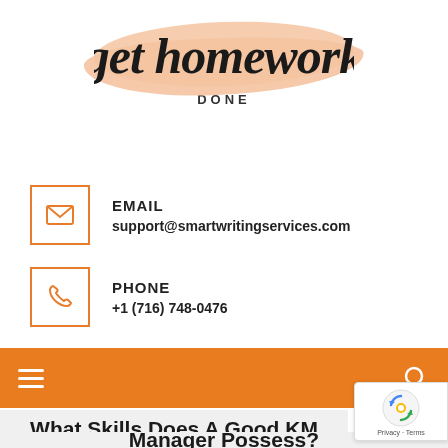[Figure (logo): Get homework DONE logo with cursive script on a peach/salmon brush stroke background]
EMAIL
support@smartwritingservices.com
PHONE
+1 (716) 748-0476
[Figure (other): Orange navigation bar with hamburger menu icon on left and search icon on right]
What Skills Does A Good KM Manager Possess?